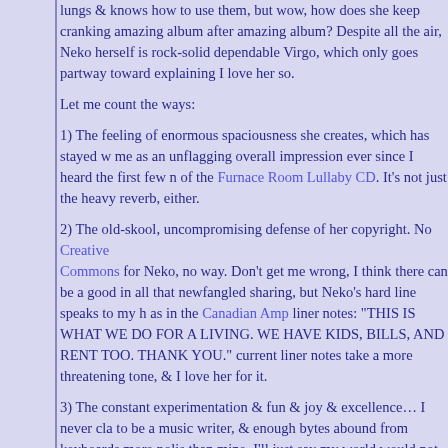lungs & knows how to use them, but wow, how does she keep cranking out amazing album after amazing album? Despite all the air, Neko herself is rock-solid dependable Virgo, which only goes partway toward explaining why I love her so.
Let me count the ways:
1) The feeling of enormous spaciousness she creates, which has stayed with me as an unflagging overall impression ever since I heard the first few notes of the Furnace Room Lullaby CD. It's not just the heavy reverb, either.
2) The old-skool, uncompromising defense of her copyright. No Creative Commons for Neko, no way. Don't get me wrong, I think there can be a good in all that newfangled sharing, but Neko's hard line speaks to my heart as in the Canadian Amp liner notes: “THIS IS WHAT WE DO FOR A LIVING. WE HAVE KIDS, BILLS, AND RENT TOO. THANK YOU.” current liner notes take a more threatening tone, & I love her for it.
3) The constant experimentation & fun & joy & excellence… I never claimed to be a music writer, & enough bytes abound from keyboards more polished than mine. I’ll just say my world would not be complete without her music arriving in fresh batches regularly the way it does, which brings me to
4) The professionalism & consistency. I am in awe of how she runs her operation. How she shows up all the fucking time. No weird drug habit,